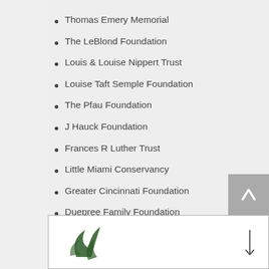Thomas Emery Memorial
The LeBlond Foundation
Louis & Louise Nippert Trust
Louise Taft Semple Foundation
The Pfau Foundation
J Hauck Foundation
Frances R Luther Trust
Little Miami Conservancy
Greater Cincinnati Foundation
Duepree Family Foundation
GE Foundation
Middletown Community Foundation
The Camden Foundation
[Figure (logo): Organization logo with green leaf/plant design at bottom of page]